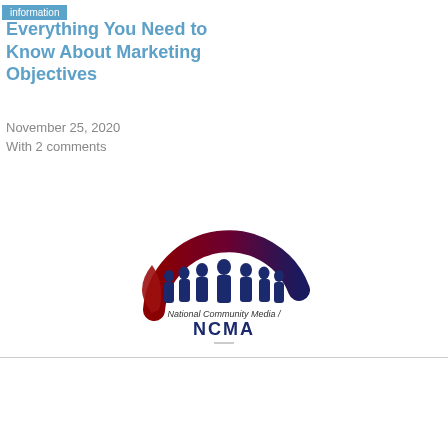information
Everything You Need to Know About Marketing Objectives
November 25, 2020
With 2 comments
[Figure (logo): NCMA National Community Media Association logo with group of people silhouette and curved arc in dark red and navy blue]
NCMA National Community Media Association
An Alliance of Community Media: Print, Newspapers